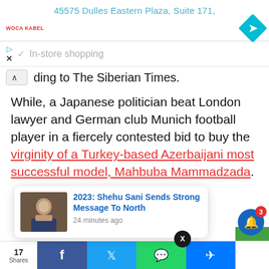45575 Dulles Eastern Plaza, Suite 171,
[Figure (screenshot): Ad banner with Woca Kabel logo and cyan navigation diamond icon, with In-store shopping text and play/close icons]
ding to The Siberian Times.
While, a Japanese politician beat London lawyer and German club Munich football player in a fiercely contested bid to buy the virginity of a Turkey-based Azerbaijani most successful model, Mahbuba Mammadzada.
[Figure (screenshot): News popup: 2023: Shehu Sani Sends Strong Message To North — 24 minutes ago, with man in suit thumbnail. Close X button above popup. Bell notification icon with badge showing 3.]
17 Shares | Facebook | Twitter | WhatsApp | Messenger